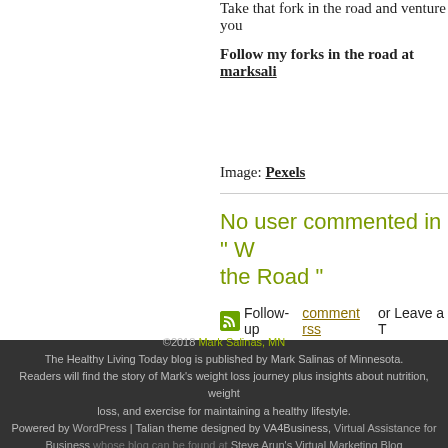Take that fork in the road and venture you...
Follow my forks in the road at marksali...
Image: Pexels
No user commented in " W... the Road "
Follow-up comment rss or Leave a T...
©2018 Mark Salinas, MN
The Healthy Living Today blog is published by Mark Salinas of Minnesota.
Readers will find the story of Mark's weight loss journey plus insights about nutrition, weight loss, and exercise for maintaining a healthy lifestyle.
Powered by WordPress | Talian theme designed by VA4Business, Virtual Assistance for Business whose blog can be found at Steve Arun's Virtual Marketing Blog